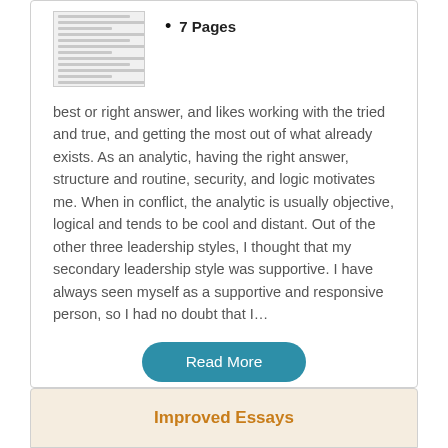[Figure (other): Thumbnail image of a document page showing lines of text]
7 Pages
best or right answer, and likes working with the tried and true, and getting the most out of what already exists. As an analytic, having the right answer, structure and routine, security, and logic motivates me. When in conflict, the analytic is usually objective, logical and tends to be cool and distant. Out of the other three leadership styles, I thought that my secondary leadership style was supportive. I have always seen myself as a supportive and responsive person, so I had no doubt that I…
Read More
Improved Essays